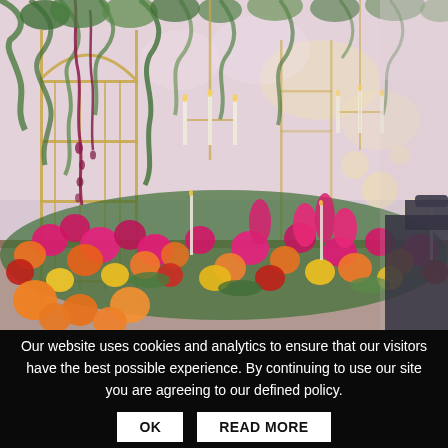[Figure (photo): A lush floral wedding reception table setup photographed from close range. Gold birdcage-style hanging lanterns and chandeliers are draped with cascading greenery and flowers. The long table below is densely covered with vibrant flowers in pink, magenta, orange, yellow, and red, interspersed with tall white and gold taper candles. Dark chairs are visible to the right. The background is soft-focused with warm bokeh light. The color palette is vivid and luxurious.]
Our website uses cookies and analytics to ensure that our visitors have the best possible experience. By continuing to use our site you are agreeing to our defined policy.